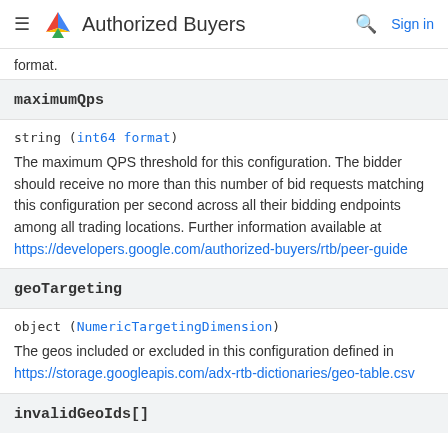Authorized Buyers
format.
maximumQps
string (int64 format)
The maximum QPS threshold for this configuration. The bidder should receive no more than this number of bid requests matching this configuration per second across all their bidding endpoints among all trading locations. Further information available at https://developers.google.com/authorized-buyers/rtb/peer-guide
geoTargeting
object (NumericTargetingDimension)
The geos included or excluded in this configuration defined in https://storage.googleapis.com/adx-rtb-dictionaries/geo-table.csv
invalidGeoIds[]